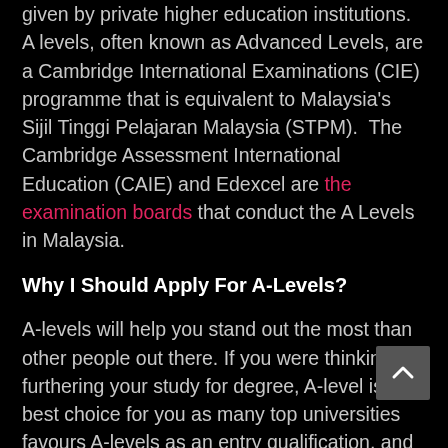given by private higher education institutions. A levels, often known as Advanced Levels, are a Cambridge International Examinations (CIE) programme that is equivalent to Malaysia's Sijil Tinggi Pelajaran Malaysia (STPM). The Cambridge Assessment International Education (CAIE) and Edexcel are the examination boards that conduct the A Levels in Malaysia.
Why I Should Apply For A-Levels?
A-levels will help you stand out the most than other people out there. If you were thinking of furthering your study for degree, A-level is the best choice for you as many top universities favours A-levels as an entry qualification, and candidates with a strong academic record have a higher